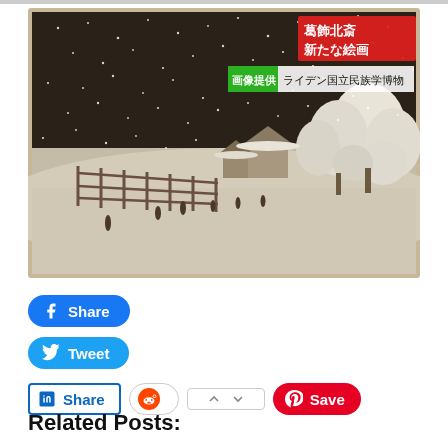[Figure (photo): A Japanese woodblock print style image showing a winter snow scene with people walking, buildings, trees covered in snow, a fence on the left, and snowflakes falling from a dark sky. Overlaid text in Japanese reads '葛飾北斎 新たな絵画' and '画像提供 ライデン国立民族学博物館']
[Figure (infographic): Social media share buttons: Facebook Share (blue rounded), Twitter Tweet (blue rounded), LinkedIn Share (outlined), Reddit upvote widget, Pinterest Save (red rounded)]
Related Posts: